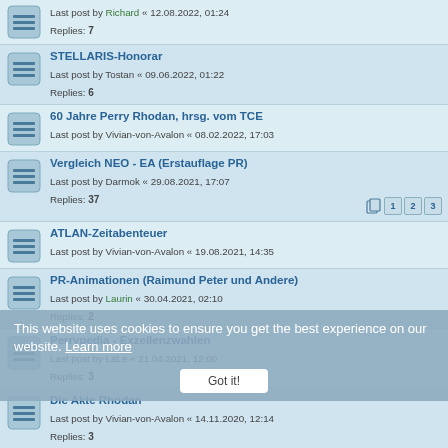Last post by Richard « 12.08.2022, 01:24
Replies: 7
STELLARIS-Honorar
Last post by Tostan « 09.06.2022, 01:22
Replies: 6
60 Jahre Perry Rhodan, hrsg. vom TCE
Last post by Vivian-von-Avalon « 08.02.2022, 17:03
Vergleich NEO - EA (Erstauflage PR)
Last post by Darmok « 29.08.2021, 17:07
Replies: 37
Pages: 1 2 3
ATLAN-Zeitabenteuer
Last post by Vivian-von-Avalon « 19.08.2021, 14:35
PR-Animationen (Raimund Peter und Andere)
Last post by Laurin « 30.04.2021, 02:10
Replies: 2
Perrypedia - Exzellenzwahlen
Last post by LaLe « 21.04.2021, 12:00
Replies: 3
Die Akte Rhodan
Last post by Vivian-von-Avalon « 14.11.2020, 12:14
Replies: 3
RETTET GUCKY
Last post by LaLe « 19.09.2020, 18:06
Replies: 15
Pages: 1 2
Miniserie: Mission SOL
Last post by Darmok « 04.09.2020, 18:35
This website uses cookies to ensure you get the best experience on our website. Learn more